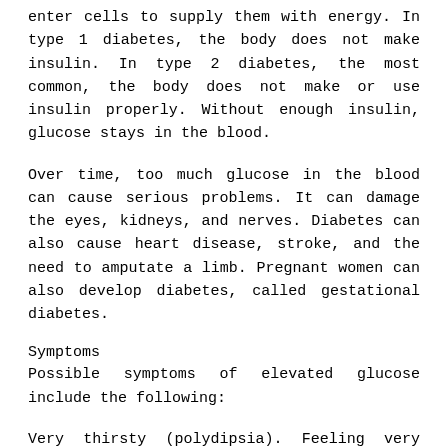enter cells to supply them with energy. In type 1 diabetes, the body does not make insulin. In type 2 diabetes, the most common, the body does not make or use insulin properly. Without enough insulin, glucose stays in the blood.
Over time, too much glucose in the blood can cause serious problems. It can damage the eyes, kidneys, and nerves. Diabetes can also cause heart disease, stroke, and the need to amputate a limb. Pregnant women can also develop diabetes, called gestational diabetes.
Symptoms
Possible symptoms of elevated glucose include the following:
Very thirsty (polydipsia). Feeling very hungry (polyphagia).
Need to urinate continuously, even at